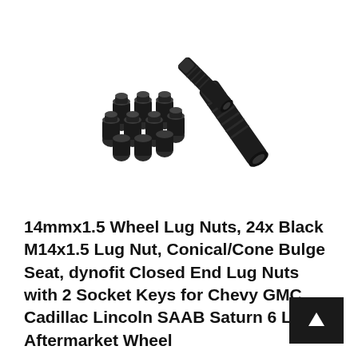[Figure (photo): A set of black 14mmx1.5 lug nuts arranged in a group, with two elongated socket key tools shown beside them, all in matte black finish, on a white background.]
14mmx1.5 Wheel Lug Nuts, 24x Black M14x1.5 Lug Nut, Conical/Cone Bulge Seat, dynofit Closed End Lug Nuts with 2 Socket Keys for Chevy GMC Cadillac Lincoln SAAB Saturn 6 Lug Aftermarket Wheel